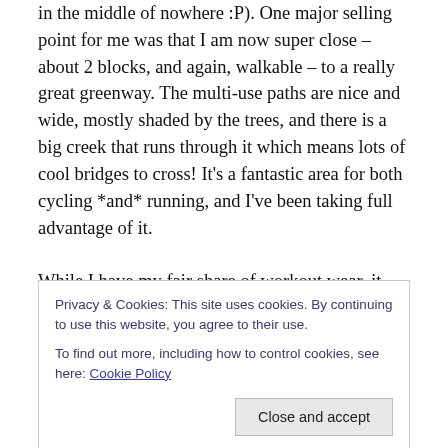in the middle of nowhere :P). One major selling point for me was that I am now super close – about 2 blocks, and again, walkable – to a really great greenway. The multi-use paths are nice and wide, mostly shaded by the trees, and there is a big creek that runs through it which means lots of cool bridges to cross! It's a fantastic area for both cycling *and* running, and I've been taking full advantage of it.

While I have my fair share of workout wear, it quickly became clear to me that what I had was lacking pretty
Privacy & Cookies: This site uses cookies. By continuing to use this website, you agree to their use.
To find out more, including how to control cookies, see here: Cookie Policy
standing in one place. I find those long pant lengths to be